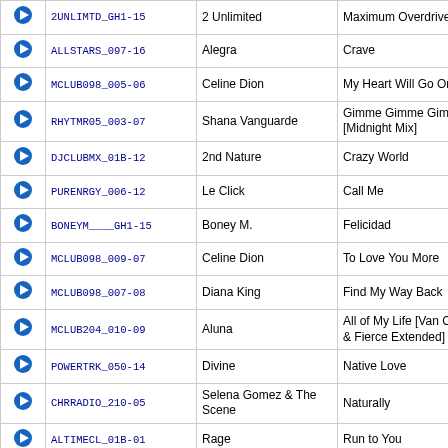|  | Code | Artist | Title |
| --- | --- | --- | --- |
| ▶ | 2UNLIMTD_GH1-15 | 2 Unlimited | Maximum Overdrive |
| ▶ | ALLSTARS_097-16 | Alegra | Crave |
| ▶ | MCLUB098_005-06 | Celine Dion | My Heart Will Go On |
| ▶ | RHYTMR05_003-07 | Shana Vanguarde | Gimme Gimme Gimme [Midnight Mix] |
| ▶ | DJCLUBMX_01B-12 | 2nd Nature | Crazy World |
| ▶ | PURENRGY_006-12 | Le Click | Call Me |
| ▶ | BONEYM____GH1-15 | Boney M. | Felicidad |
| ▶ | MCLUB098_009-07 | Celine Dion | To Love You More |
| ▶ | MCLUB098_007-08 | Diana King | Find My Way Back |
| ▶ | MCLUB204_010-09 | Aluna | All of My Life [Van Check & Fierce Extended] |
| ▶ | POWERTRK_050-14 | Divine | Native Love |
| ▶ | CHRRADIO_210-05 | Selena Gomez & The Scene | Naturally |
| ▶ | ALTIMECL_01B-01 | Rage | Run to You |
| ▶ | RADIO099_07A-09 | Martha Wash | Come [Dan's Radio Mix] |
| ▶ | DJCLUBMX_01B-14 | Twenty 4 Seven | Leave Them Alone |
| ▶ | HOTTRACK_033-17 | The Chipmunks | Macarena |
| ▶ | CREAMDNC_01B-10 | Cheryl Lynn | Got to Be Real |
| ▶ | PCLUB099_010-09 | M3 | Bailamos |
| ▶ | KARATEKD_ST1-02 | The Flirts & Jan and Dean | (Bob Pop) On the Beach |
| ▶ | CLUBANTH_201-10 | Gaya' | Never Meet |
| ▶ | MCLUB099_009-10 | An... | The Need to Be Naked [Thunderpuss |